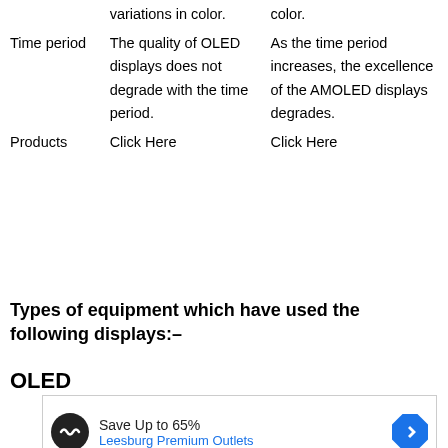|  | OLED | AMOLED |
| --- | --- | --- |
|  | variations in color. | color. |
| Time period | The quality of OLED displays does not degrade with the time period. | As the time period increases, the excellence of the AMOLED displays degrades. |
| Products | Click Here | Click Here |
Types of equipment which have used the following displays:–
OLED
[Figure (other): Advertisement banner: Save Up to 65% Leesburg Premium Outlets]